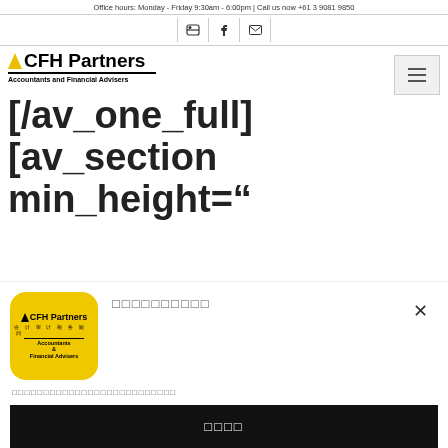Office hours: Monday - Friday 9:30am - 6:00pm | Call us now +61 3 9081 9850
[Figure (logo): Social media icons: LinkedIn, Facebook, Email]
[Figure (logo): CFH Partners logo - Accountants and Financial Advisers with yellow triangle mark]
[/av_one_full]
[av_section min_height="
[Figure (logo): CFH Partners app icon - yellow rounded square with logo]
□□□□□□□□□□
□□□□□□□□□□□□□□□□□□□□□□□□□□
□□□□